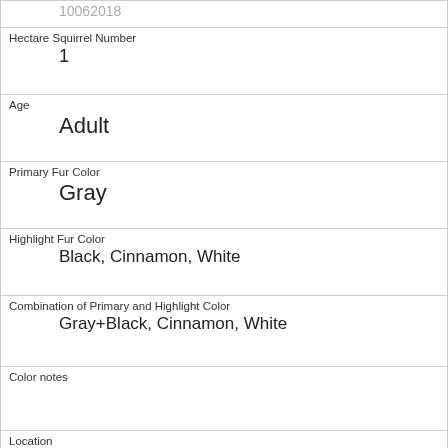| 10062018 |
| Hectare Squirrel Number | 1 |
| Age | Adult |
| Primary Fur Color | Gray |
| Highlight Fur Color | Black, Cinnamon, White |
| Combination of Primary and Highlight Color | Gray+Black, Cinnamon, White |
| Color notes |  |
| Location | Above Ground |
| Above Ground Sighter Measurement | 20 |
| Specific Location |  |
| Running | 0 |